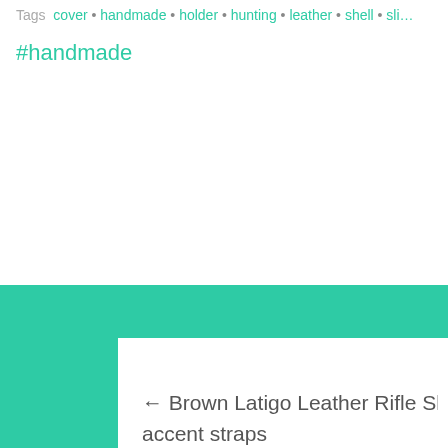Tags  cover • handmade • holder • hunting • leather • shell • sli…
#handmade
← Brown Latigo Leather Rifle Slings with black accent straps
Diamond D leather rifle butt stock cover →